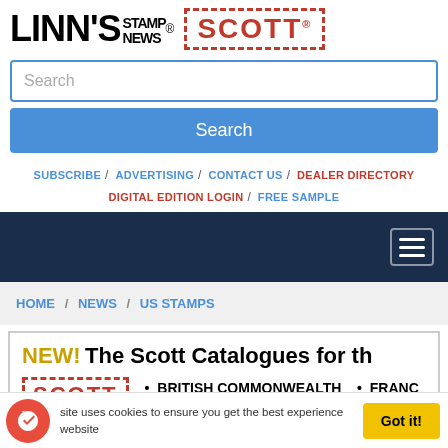[Figure (logo): Linn's Stamp News logo with Scott logo]
Search (input field)
Search (button)
SUBSCRIBE / ADVERTISING / CONTACT US / DEALER DIRECTORY / DIGITAL EDITION LOGIN / FREE SAMPLE
[Figure (screenshot): Dark navy navigation bar with hamburger menu icon]
HOME / NEWS / US STAMPS
NEW! The Scott Catalogues for th...
• BRITISH COMMONWEALTH • FRANC... • GERMANY AND AREAS • PORTU...
This website uses cookies to ensure you get the best experience on our website. Got it!